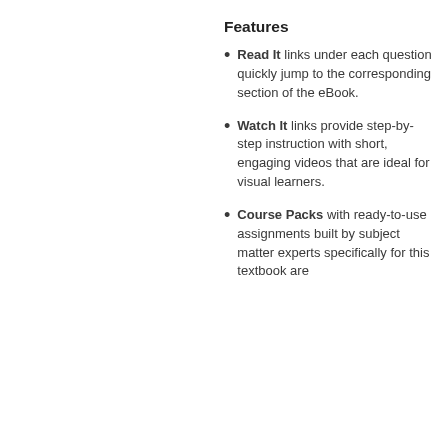Features
Read It links under each question quickly jump to the corresponding section of the eBook.
Watch It links provide step-by-step instruction with short, engaging videos that are ideal for visual learners.
Course Packs with ready-to-use assignments built by subject matter experts specifically for this textbook are